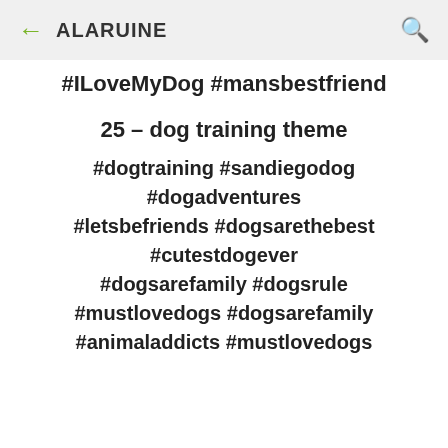← ALARUINE 🔍
#ILoveMyDog #mansbestfriend
25 – dog training theme
#dogtraining #sandiegodog #dogadventures #letsbefriends #dogsarethebest #cutestdogever #dogsarefamily #dogsrule #mustlovedogs #dogsarefamily #animaladdicts #mustlovedogs